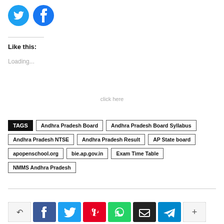[Figure (illustration): Twitter and Facebook social share circular icon buttons in teal/blue]
Like this:
Loading...
click here
TAGS  Andhra Pradesh Board  Andhra Pradesh Board Syllabus  Andhra Pradesh NTSE  Andhra Pradesh Result  AP State board  apopenschool.org  bie.ap.gov.in  Exam Time Table  NMMS Andhra Pradesh
[Figure (infographic): Social share buttons row at bottom: white, Facebook, Twitter, Pinterest, WhatsApp, black, Telegram, more]